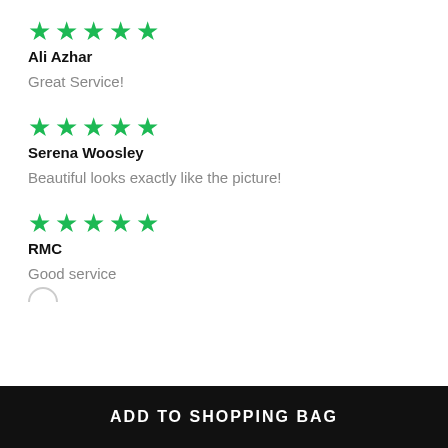★★★★★ Ali Azhar — Great Service!
★★★★★ Serena Woosley — Beautiful looks exactly like the picture!
★★★★★ RMC — Good service
ADD TO SHOPPING BAG